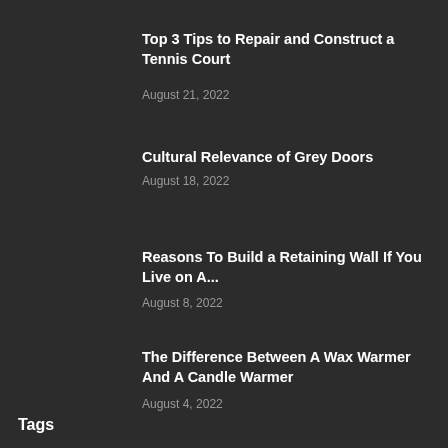Top 3 Tips to Repair and Construct a Tennis Court
August 21, 2022
Cultural Relevance of Grey Doors
August 18, 2022
Reasons To Build a Retaining Wall If You Live on A...
August 8, 2022
The Difference Between A Wax Warmer And A Candle Warmer
August 4, 2022
Tags